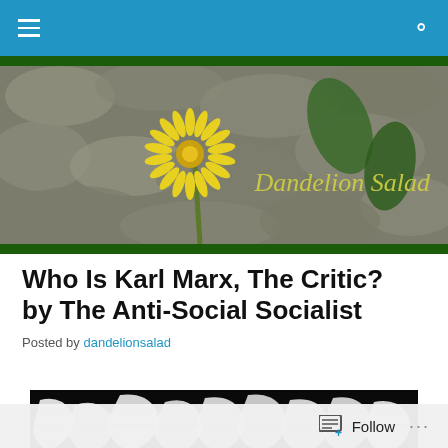Navigation bar with hamburger menu and search icon
[Figure (photo): Dandelion Salad website banner: a yellow dandelion flower among rocks with green leaves, with the text 'Dandelion Salad' in olive/yellow italic font on the right side]
Who Is Karl Marx, The Critic? by The Anti-Social Socialist
Posted by dandelionsalad
[Figure (illustration): Black and white woodcut-style illustration, appears to show figures in an artistic graphic style]
Follow  ...